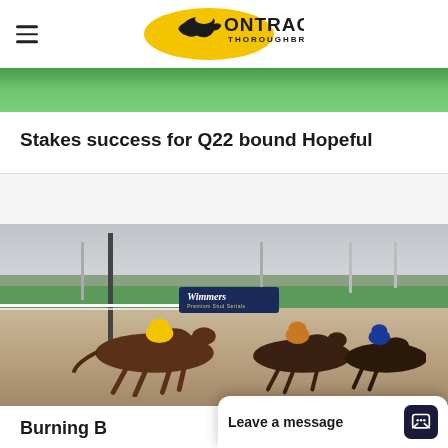OnTrack Thoroughbreds
[Figure (photo): Partial green grass/turf image at top of article card]
Stakes success for Q22 bound Hopeful
[Figure (photo): Horse race photo showing thoroughbreds racing on dirt track with Wimmers sponsor banner, jockeys in yellow and blue silks]
Burning B
Leave a message